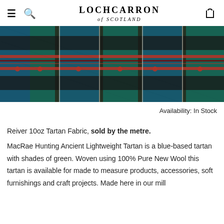LOCHCARRON of SCOTLAND
[Figure (photo): MacRae Hunting Ancient Lightweight Tartan fabric showing a blue-green plaid pattern with black and red stripes on a woven wool textile.]
Availability: In Stock
Reiver 10oz Tartan Fabric, sold by the metre.
MacRae Hunting Ancient Lightweight Tartan is a blue-based tartan with shades of green. Woven using 100% Pure New Wool this tartan is available for made to measure products, accessories, soft furnishings and craft projects. Made here in our mill